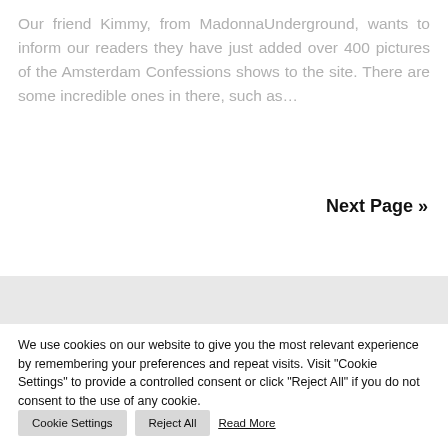Our friend Kimmy, from MadonnaUnderground, wants to inform our readers they have just added over 400 pictures of the Amsterdam Confessions shows to the site. There are some incredible ones in there, such as...
Next Page »
We use cookies on our website to give you the most relevant experience by remembering your preferences and repeat visits. Visit "Cookie Settings" to provide a controlled consent or click "Reject All" if you do not consent to the use of any cookie.
Cookie Settings   Reject All   Read More